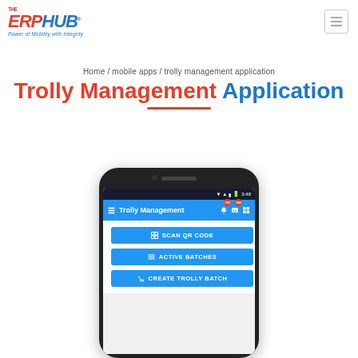[Figure (logo): ERP Hub logo with tagline 'Power of Mobility with Integrity']
Home / mobile apps / trolly management application
Trolly Management Application
[Figure (screenshot): Mobile phone screenshot showing Trolly Management app with SCAN QR CODE, ACTIVE BATCHES, and CREATE TROLLY BATCH buttons]